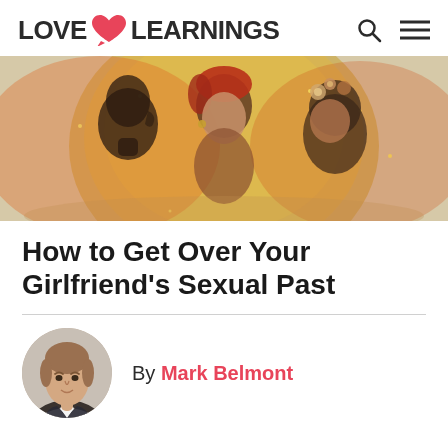LOVE LEARNINGS
[Figure (illustration): A heart-shaped frame with golden and fiery tones showing three figures: a man's profile on the left, a woman with short red hair in the center, and a woman with flowers in her hair on the right. Warm glowing background.]
How to Get Over Your Girlfriend's Sexual Past
By Mark Belmont